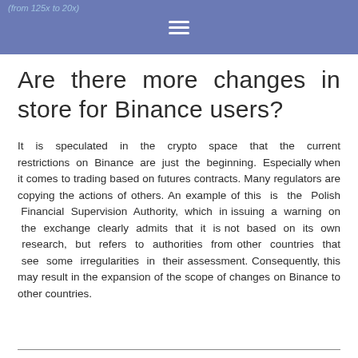(from 125x to 20x)
Are there more changes in store for Binance users?
It is speculated in the crypto space that the current restrictions on Binance are just the beginning. Especially when it comes to trading based on futures contracts. Many regulators are copying the actions of others. An example of this is the Polish Financial Supervision Authority, which in issuing a warning on the exchange clearly admits that it is not based on its own research, but refers to authorities from other countries that see some irregularities in their assessment. Consequently, this may result in the expansion of the scope of changes on Binance to other countries.